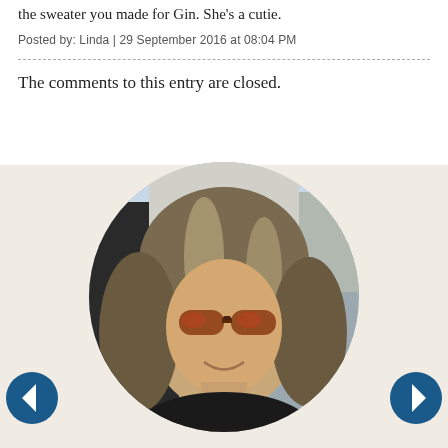the sweater you made for Gin. She's a cutie.
Posted by: Linda | 29 September 2016 at 08:04 PM
The comments to this entry are closed.
[Figure (photo): Circular profile photo of a woman with long wavy highlighted hair, wearing reflective sunglasses and a dark top, sitting in a car. Navigation arrows (left and right) are visible at the bottom corners.]